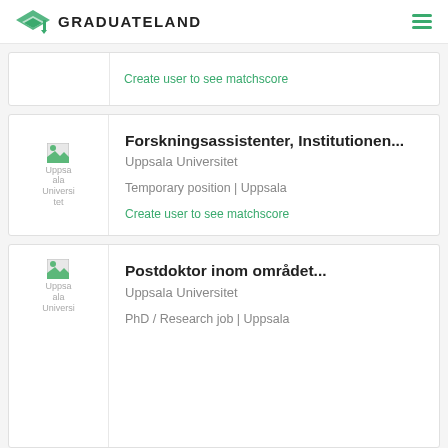GRADUATELAND
Create user to see matchscore
Forskningsassistenter, Institutionen...
Uppsala Universitet
Temporary position | Uppsala
Create user to see matchscore
Postdoktor inom området...
Uppsala Universitet
PhD / Research job | Uppsala